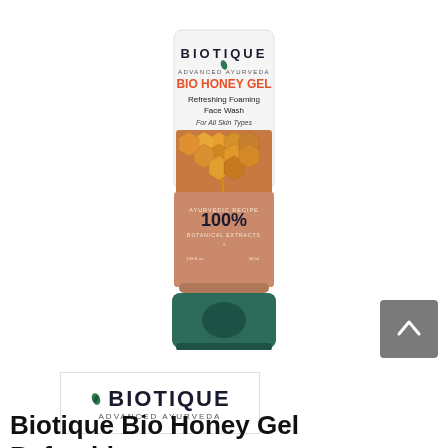[Figure (photo): Biotique Advanced Ayurveda Bio Honey Gel Refreshing Foaming Face Wash product tube with green cap and honeycomb imagery]
[Figure (other): Orange share button with plus icon and text 'Share']
[Figure (other): Grey scroll-to-top button with upward arrow]
[Figure (logo): Biotique Advanced Ayurveda brand logo in a white box with border]
Biotique Bio Honey Gel Refreshing